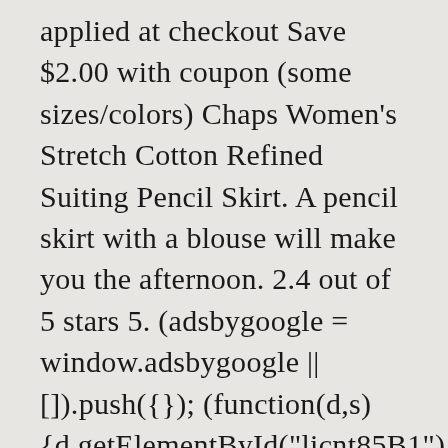applied at checkout Save $2.00 with coupon (some sizes/colors) Chaps Women's Stretch Cotton Refined Suiting Pencil Skirt. A pencil skirt with a blouse will make you the afternoon. 2.4 out of 5 stars 5. (adsbygoogle = window.adsbygoogle || []).push({}); (function(d,s) {d.getElementById("licnt85B1").src= Also for a walk you can wear a tunic, gathered a little under the chest and just below the hips. The best part? However, they're made to be worn with a tucked-in shirt. If you have slim legs, you can wear skirts with the length of up to the middle of the knee. No matter what your age or. Thanks to the special cut, it can emphasize the waist and create a trim figure